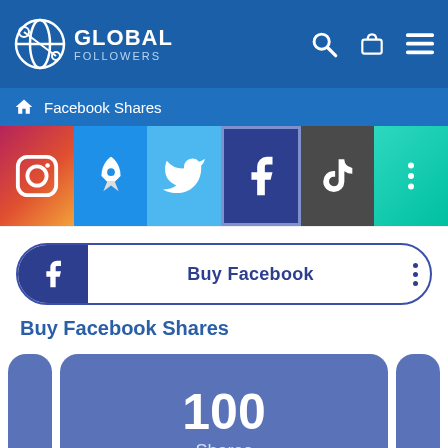[Figure (screenshot): Global Followers website header with logo, search, cart, and menu icons on dark blue background]
Facebook Shares
[Figure (infographic): Social media platform icon tabs: Instagram, Boost (rocket), Twitter, Facebook (selected/active), TikTok, More (dots)]
[Figure (infographic): Buy Facebook button/pill with Facebook icon on left, 'Buy Facebook' label in center, three dots on right]
Buy Facebook Shares
[Figure (infographic): Product card showing 100 Shares on blue/indigo rounded rectangle card, with partial cards visible on left and right sides]